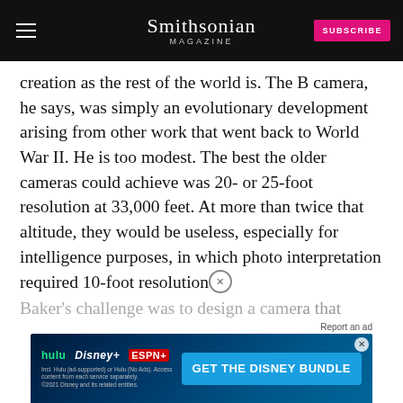Smithsonian MAGAZINE
creation as the rest of the world is. The B camera, he says, was simply an evolutionary development arising from other work that went back to World War II. He is too modest. The best the older cameras could achieve was 20- or 25-foot resolution at 33,000 feet. At more than twice that altitude, they would be useless, especially for intelligence purposes, in which photo interpretation required 10-foot resolution.
Baker's challenge was to design a camera that would … ever built.
[Figure (screenshot): Disney Bundle advertisement banner with Hulu, Disney+, and ESPN+ logos and GET THE DISNEY BUNDLE call to action]